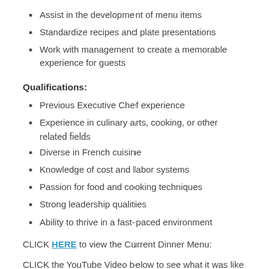Assist in the development of menu items
Standardize recipes and plate presentations
Work with management to create a memorable experience for guests
Qualifications:
Previous Executive Chef experience
Experience in culinary arts, cooking, or other related fields
Diverse in French cuisine
Knowledge of cost and labor systems
Passion for food and cooking techniques
Strong leadership qualities
Ability to thrive in a fast-paced environment
CLICK HERE to view the Current Dinner Menu:
CLICK the YouTube Video below to see what it was like at Bistro AIX in 2018: